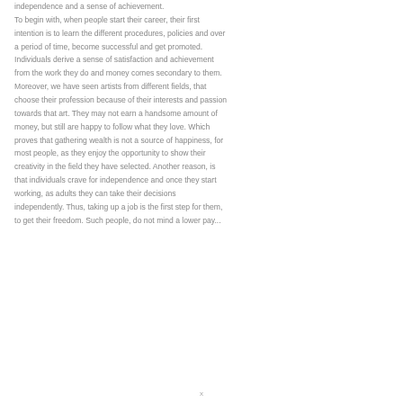independence and a sense of achievement. To begin with, when people start their career, their first intention is to learn the different procedures, policies and over a period of time, become successful and get promoted. Individuals derive a sense of satisfaction and achievement from the work they do and money comes secondary to them. Moreover, we have seen artists from different fields, that choose their profession because of their interests and passion towards that art. They may not earn a handsome amount of money, but still are happy to follow what they love. Which proves that gathering wealth is not a source of happiness, for most people, as they enjoy the opportunity to show their creativity in the field they have selected. Another reason, is that individuals crave for independence and once they start working, as adults they can take their decisions independently. Thus, taking up a job is the first step for them, to get their freedom. Such people, do not mind a lower pay...
x